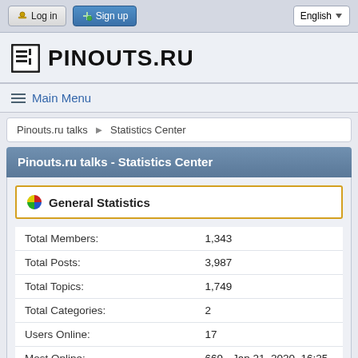Log in  Sign up  English
PINOUTS.RU
Main Menu
Pinouts.ru talks ▶ Statistics Center
Pinouts.ru talks - Statistics Center
General Statistics
|  |  |
| --- | --- |
| Total Members: | 1,343 |
| Total Posts: | 3,987 |
| Total Topics: | 1,749 |
| Total Categories: | 2 |
| Users Online: | 17 |
| Most Online: | 669 - Jan 21, 2020, 16:25 |